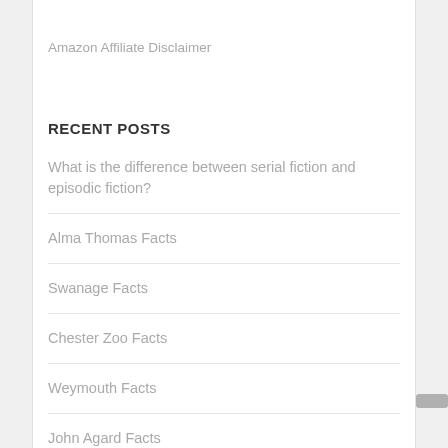Amazon Affiliate Disclaimer
RECENT POSTS
What is the difference between serial fiction and episodic fiction?
Alma Thomas Facts
Swanage Facts
Chester Zoo Facts
Weymouth Facts
John Agard Facts